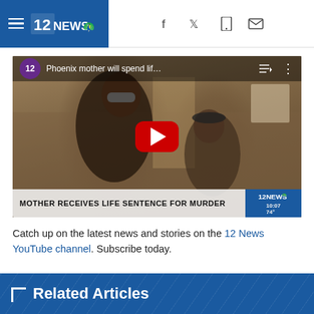12NEWS (NBC) — navigation header with hamburger menu and social icons
[Figure (screenshot): Embedded YouTube video thumbnail showing a woman and a child with the title 'Phoenix mother will spend lif...' and a lower-third chyron reading 'MOTHER RECEIVES LIFE SENTENCE FOR MURDER' with 12NEWS branding]
Catch up on the latest news and stories on the 12 News YouTube channel. Subscribe today.
Related Articles